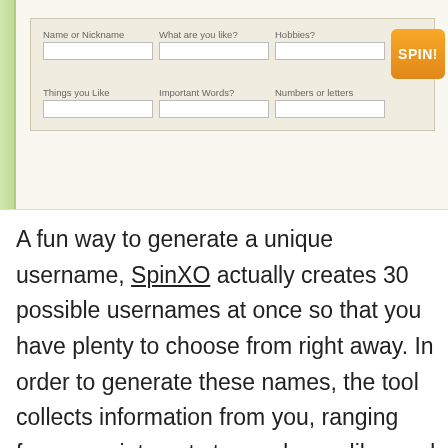[Figure (screenshot): Screenshot of SpinXO username generator web tool with form fields: Name or Nickname, What are you like?, Hobbies?, Things you Like, Important Words?, Numbers or letters, and an orange SPIN! button]
A fun way to generate a unique username, SpinXO actually creates 30 possible usernames at once so that you have plenty to choose from right away. In order to generate these names, the tool collects information from you, ranging from your interests to words you like, and then uses that information to give you username inspiration. SpinXO also gives you a way to check if the username you like is available on several different platforms, including YouTube and Instagram.